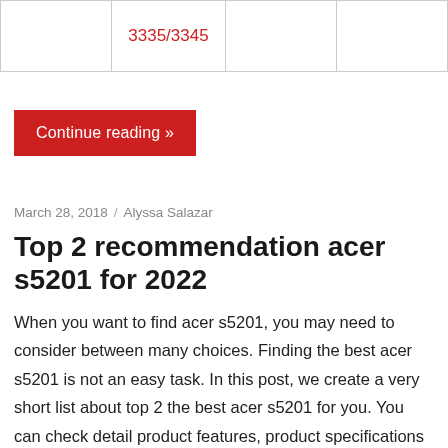|  |  |  |  |
| --- | --- | --- | --- |
|  | 3335/3345 |  |  |
Continue reading »
March 28, 2018 / Alyssa Salazar
Top 2 recommendation acer s5201 for 2022
When you want to find acer s5201, you may need to consider between many choices. Finding the best acer s5201 is not an easy task. In this post, we create a very short list about top 2 the best acer s5201 for you. You can check detail product features, product specifications and also our voting for each product. Let's start with following top 2 acer s5201: